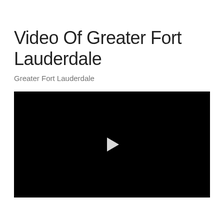Video Of Greater Fort Lauderdale
Greater Fort Lauderdale
[Figure (screenshot): Black video player with a white play button triangle in the center, representing a video of Greater Fort Lauderdale.]